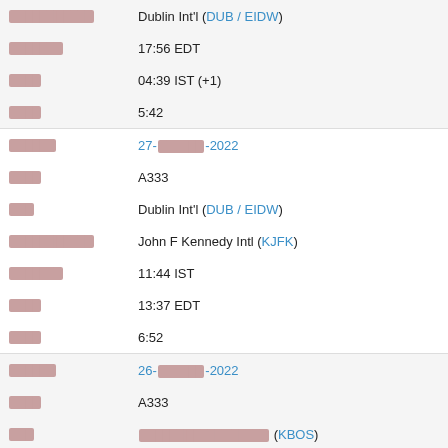| Field | Value |
| --- | --- |
| [redacted] | Dublin Int'l (DUB / EIDW) |
| [redacted] | 17:56 EDT |
| [redacted] | 04:39 IST (+1) |
| [redacted] | 5:42 |
| [redacted] | 27-[redacted]-2022 |
| [redacted] | A333 |
| [redacted] | Dublin Int'l (DUB / EIDW) |
| [redacted] | John F Kennedy Intl (KJFK) |
| [redacted] | 11:44 IST |
| [redacted] | 13:37 EDT |
| [redacted] | 6:52 |
| [redacted] | 26-[redacted]-2022 |
| [redacted] | A333 |
| [redacted] | [redacted] (KBOS) |
| [redacted] | Dublin Int'l (DUB / EIDW) |
| [redacted] | 21:29 EDT |
| [redacted] | 08:05 IST (+1) |
| [redacted] | 5:35 |
| [redacted] | 26-[redacted]-2022 |
| [redacted] | A333 |